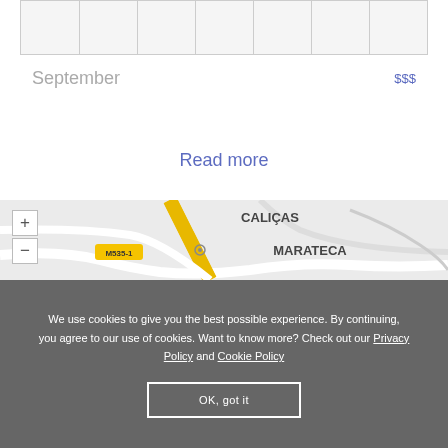|  |
September   $$$
Read more
[Figure (map): Street map showing CALIÇAS and MARATECA areas with road M535-1, zoom controls (+/-), and street layout on light grey background.]
We use cookies to give you the best possible experience. By continuing, you agree to our use of cookies. Want to know more? Check out our Privacy Policy and Cookie Policy
OK, got it